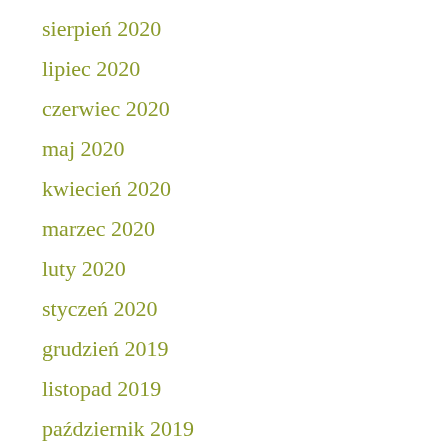sierpień 2020
lipiec 2020
czerwiec 2020
maj 2020
kwiecień 2020
marzec 2020
luty 2020
styczeń 2020
grudzień 2019
listopad 2019
październik 2019
wrzesień 2019